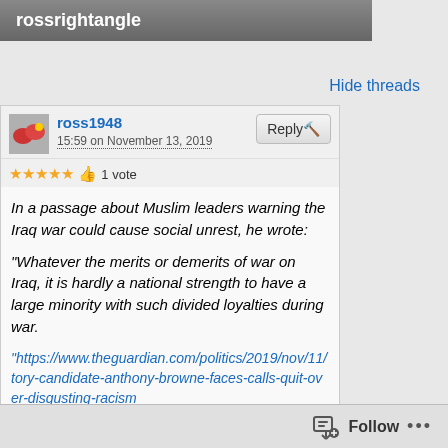rossrightangle
Hide threads
ross1948
15:59 on November 13, 2019
★★★★★ 👍 1 vote
In a passage about Muslim leaders warning the Iraq war could cause social unrest, he wrote:
"Whatever the merits or demerits of war on Iraq, it is hardly a national strength to have a large minority with such divided loyalties during war.
"https://www.theguardian.com/politics/2019/nov/11/tory-candidate-anthony-browne-faces-calls-quit-over-disgusting-racism
That was one of Anthony Browne's observations,
Follow ...